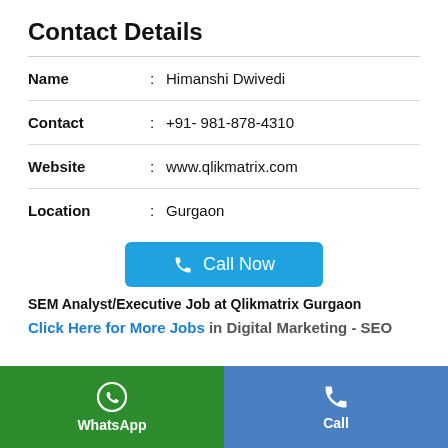Contact Details
| Field | : | Value |
| --- | --- | --- |
| Name | : | Himanshi Dwivedi |
| Contact | : | +91- 981-878-4310 |
| Website | : | www.qlikmatrix.com |
| Location | : | Gurgaon |
Call Now
SEM Analyst/Executive Job at Qlikmatrix Gurgaon
Click Here for More Jobs in Digital Marketing - SEO
WhatsApp
Call